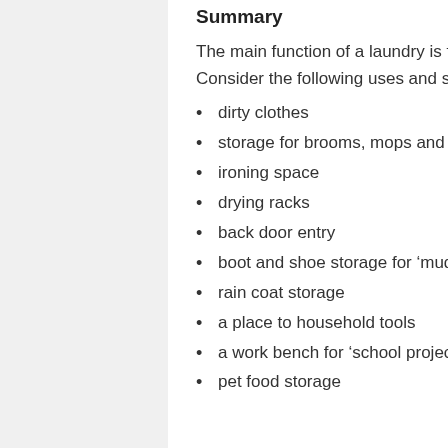Summary
The main function of a laundry is for washing and drying clothes, or so we may think. Consider the following uses and see if they apply. Laundry Check List PDF
dirty clothes
storage for brooms, mops and buckets
ironing space
drying racks
back door entry
boot and shoe storage for ‘muddy shoes’
rain coat storage
a place to household tools
a work bench for ‘school projects’
pet food storage